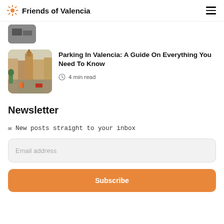Friends of Valencia
[Figure (photo): Partial thumbnail of a previous article card visible at top]
[Figure (photo): Street view of Valencia with a cathedral tower in the background, people and parked cars on a narrow urban street]
Parking In Valencia: A Guide On Everything You Need To Know
4 min read
Newsletter
✉ New posts straight to your inbox
Email address
Subscribe